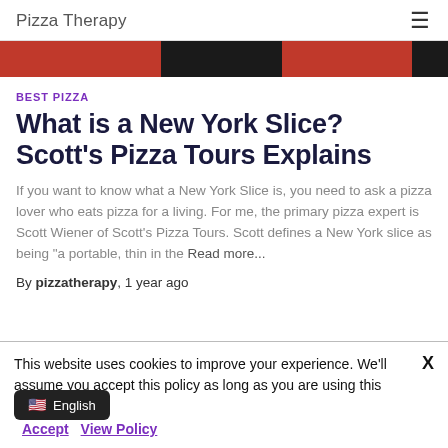Pizza Therapy
[Figure (photo): Partial view of a pizza image strip showing red and black colors]
BEST PIZZA
What is a New York Slice? Scott's Pizza Tours Explains
If you want to know what a New York Slice is, you need to ask a pizza lover who eats pizza for a living. For me, the primary pizza expert is Scott Wiener of Scott's Pizza Tours. Scott defines a New York slice as being "a portable, thin in the Read more...
By pizzatherapy, 1 year ago
This website uses cookies to improve your experience. We'll assume you accept this policy as long as you are using this website Accept View Policy